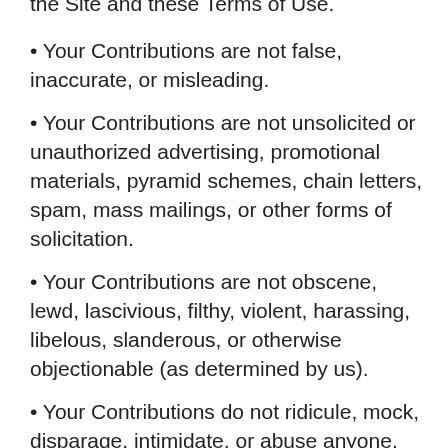the Site and these Terms of Use.
Your Contributions are not false, inaccurate, or misleading.
Your Contributions are not unsolicited or unauthorized advertising, promotional materials, pyramid schemes, chain letters, spam, mass mailings, or other forms of solicitation.
Your Contributions are not obscene, lewd, lascivious, filthy, violent, harassing, libelous, slanderous, or otherwise objectionable (as determined by us).
Your Contributions do not ridicule, mock, disparage, intimidate, or abuse anyone.
Your Contributions are not used to harass or threaten (in the legal sense of those terms) any